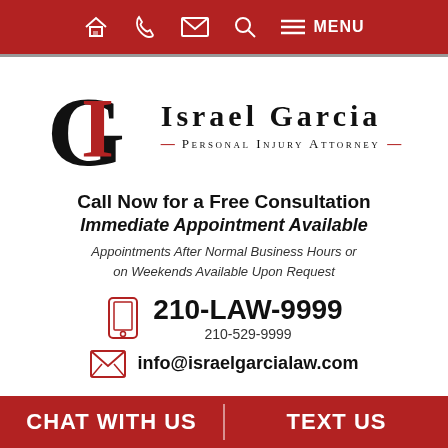Navigation bar with home, phone, email, search, and menu icons
[Figure (logo): Israel Garcia Personal Injury Attorney logo with IG monogram in black and red]
Call Now for a Free Consultation
Immediate Appointment Available
Appointments After Normal Business Hours or on Weekends Available Upon Request
210-LAW-9999
210-529-9999
info@israelgarcialaw.com
CHAT WITH US | TEXT US